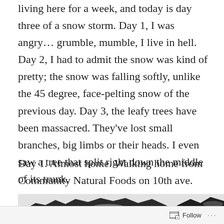living here for a week, and today is day three of a snow storm. Day 1, I was angry… grumble, mumble, I live in hell. Day 2, I had to admit the snow was kind of pretty; the snow was falling softly, unlike the 45 degree, face-pelting snow of the previous day. Day 3, the leafy trees have been massacred. They've lost small branches, big limbs or their heads. I even saw a tree that split right down the middle of its trunk.
Day 1. Almost home. Walking home from Community Natural Foods on 10th ave.
[Figure (photo): Black and white photograph showing snow-covered trees, partially visible at bottom of page]
Follow ···